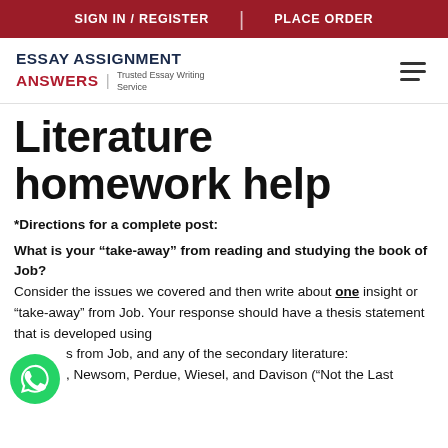SIGN IN / REGISTER | PLACE ORDER
[Figure (logo): Essay Assignment Answers logo with tagline 'Trusted Essay Writing Service' and hamburger menu icon]
Literature homework help
*Directions for a complete post:
What is your “take-away” from reading and studying the book of Job?
Consider the issues we covered and then write about one insight or “take-away” from Job. Your response should have a thesis statement that is developed using …s from Job, and any of the secondary literature: …, Newsom, Perdue, Wiesel, and Davison (“Not the Last